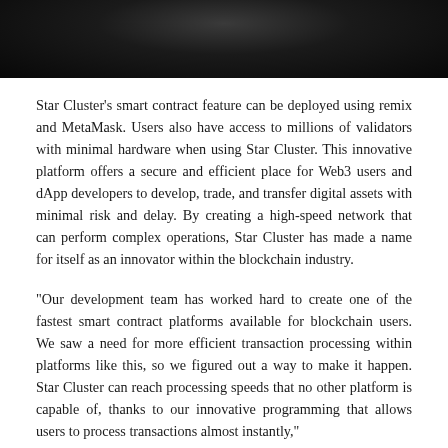[Figure (photo): Dark background photo, partially visible at top of page (cropped image of a person or dark scene)]
Star Cluster's smart contract feature can be deployed using remix and MetaMask. Users also have access to millions of validators with minimal hardware when using Star Cluster. This innovative platform offers a secure and efficient place for Web3 users and dApp developers to develop, trade, and transfer digital assets with minimal risk and delay. By creating a high-speed network that can perform complex operations, Star Cluster has made a name for itself as an innovator within the blockchain industry.
“Our development team has worked hard to create one of the fastest smart contract platforms available for blockchain users. We saw a need for more efficient transaction processing within platforms like this, so we figured out a way to make it happen. Star Cluster can reach processing speeds that no other platform is capable of, thanks to our innovative programming that allows users to process transactions almost instantly,”
“Our top-of-the-line programming has created an efficient and secure space for developing and maintaining smart contracts. Our platform offers a wide variety of features for users to take advantage of within the blockchain industry. Star Cluster also has features that allow users to create customized blockchains that can be launched for both private and public sectors. Web3 users will find that Star Cluster can help them accomplish